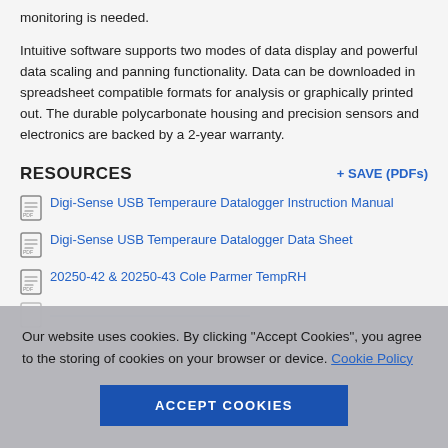monitoring is needed.
Intuitive software supports two modes of data display and powerful data scaling and panning functionality. Data can be downloaded in spreadsheet compatible formats for analysis or graphically printed out. The durable polycarbonate housing and precision sensors and electronics are backed by a 2-year warranty.
RESOURCES
+ SAVE (PDFs)
Digi-Sense USB Temperaure Datalogger Instruction Manual
Digi-Sense USB Temperaure Datalogger Data Sheet
20250-42 & 20250-43 Cole Parmer TempRH
Our website uses cookies. By clicking "Accept Cookies", you agree to the storing of cookies on your browser or device. Cookie Policy
ACCEPT COOKIES